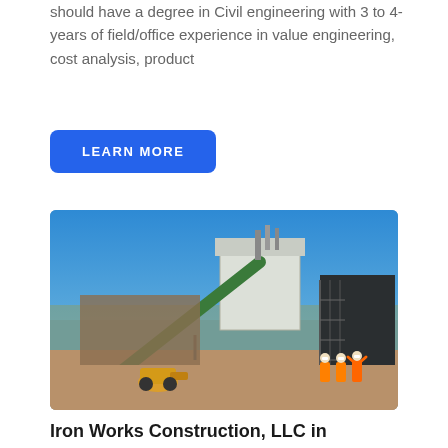should have a degree in Civil engineering with 3 to 4-years of field/office experience in value engineering, cost analysis, product
LEARN MORE
[Figure (photo): Industrial construction site showing a large concrete batching plant or aggregate processing facility with a conveyor belt, silos, and workers in high-visibility orange suits and white hard hats standing in the foreground. A wheeled loader is visible near the base of the structure. Blue sky in background.]
Iron Works Construction, LLC in Billings, MT – SBA PPP